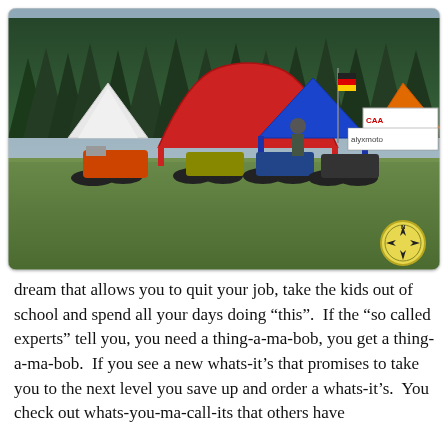[Figure (photo): Outdoor motorcycle event or rally on a grassy field. Multiple motorcycles parked in a row, various vendor tents visible including a red arch tent, blue tent, and orange KTM tent. Signs visible include 'alyxmoto', 'CAA', 'TANK'. Dense pine forest in background. Yellow compass rose logo watermark in bottom right corner.]
dream that allows you to quit your job, take the kids out of school and spend all your days doing “this”.  If the “so called experts” tell you, you need a thing-a-ma-bob, you get a thing-a-ma-bob.  If you see a new whats-it’s that promises to take you to the next level you save up and order a whats-it’s.  You check out whats-you-ma-call-its that others have